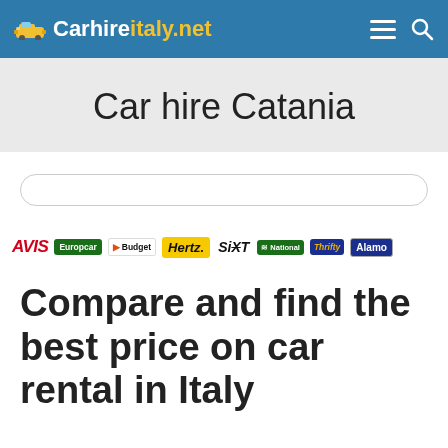Carhireitaly.net
Car hire Catania
[Figure (logo): Brand logos: AVIS, Europcar, Budget, Hertz, SIXT, National, Thrifty, Alamo]
Compare and find the best price on car rental in Italy